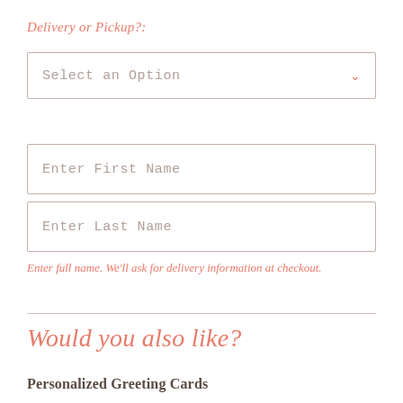Delivery or Pickup?:
[Figure (other): Dropdown selector input box with placeholder text 'Select an Option' and a coral/salmon chevron arrow on the right]
[Figure (other): Text input field with placeholder text 'Enter First Name']
[Figure (other): Text input field with placeholder text 'Enter Last Name']
Enter full name. We'll ask for delivery information at checkout.
Would you also like?
Personalized Greeting Cards